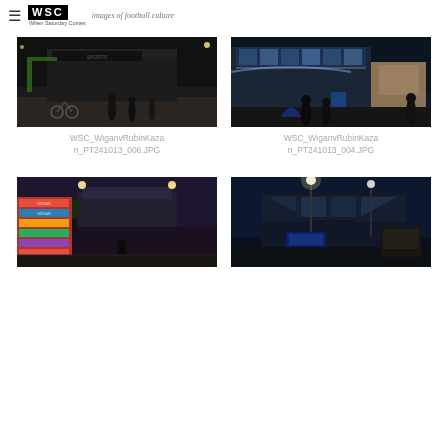WSC — images of football culture
[Figure (photo): Night time exterior shot of stadium/arena building with people walking and a bicycle parked, dark sky, floodlights visible]
WSC_WiganvRubinKazan_PT241013_006.JPG
[Figure (photo): Night time exterior shot of modern stadium exterior with food vendor stall and people standing outside, blue lights on building]
WSC_WiganvRubinKazan_PT241013_004.JPG
[Figure (photo): Dusk/evening shot of football scarves and merchandise stall outside stadium with stadium lit up in background]
[Figure (photo): Night time exterior of modern stadium building with street lights, blue tones, empty concourse area]